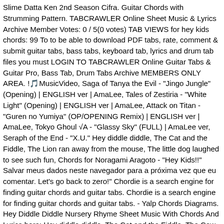Slime Datta Ken 2nd Season Cifra. Guitar Chords with Strumming Pattern. TABCRAWLER Online Sheet Music & Lyrics Archive Member Votes: 0 / 5(0 votes) TAB VIEWS for hey kids chords: 99 To to be able to download PDF tabs, rate, comment & submit guitar tabs, bass tabs, keyboard tab, lyrics and drum tab files you must LOGIN TO TABCRAWLER Online Guitar Tabs & Guitar Pro, Bass Tab, Drum Tabs Archive MEMBERS ONLY AREA. !🎵MusicVideo, Saga of Tanya the Evil - "Jingo Jungle" (Opening) | ENGLISH ver | AmaLee, Tales of Zestiria - "White Light" (Opening) | ENGLISH ver | AmaLee, Attack on Titan - "Guren no Yumiya" (OP/OPENING Remix) | ENGLISH ver | AmaLee, Tokyo Ghoul √A - "Glassy Sky" (FULL) | AmaLee ver, Seraph of the End - "X.U." Hey diddle diddle, The Cat and the Fiddle, The Lion ran away from the mouse, The little dog laughed to see such fun, Chords for Noragami Aragoto - "Hey Kids!!" Salvar meus dados neste navegador para a próxima vez que eu comentar. Let's go back to zero!" Chordie is a search engine for finding guitar chords and guitar tabs. Chordie is a search engine for finding guitar chords and guitar tabs. - Yalp Chords Diagrams. Hey Diddle Diddle Nursery Rhyme Sheet Music With Chords And Lyrics here: Hey diddle diddle, The Cat and the Fiddle, The Cow jump'd over the moon, The little dog laughed to see such Craft, And the Dish ran away with the Spoon. !" AbBbFinal(CmAbG7)x4CmN.C.BbCm, O seu endereço de e-mail não será publicado. At E-Chords.com you will learn how to play The Beatles' songs easily and improve your skills on your favorite instrument as well. Daily, we